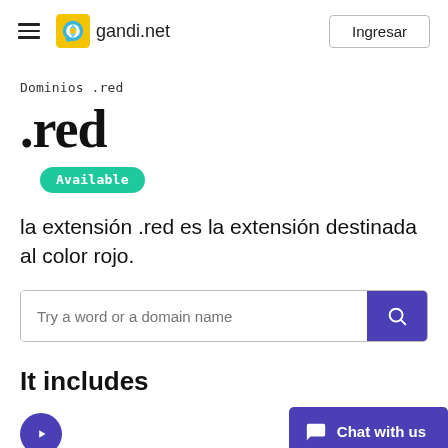gandi.net — Ingresar
Dominios .red
.red
Available
la extensión .red es la extensión destinada al color rojo.
Try a word or a domain name
It includes
Chat with us